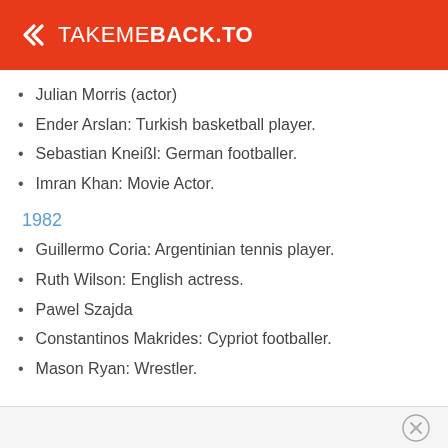TAKEMEBACK.TO
Julian Morris (actor)
Ender Arslan: Turkish basketball player.
Sebastian Kneißl: German footballer.
Imran Khan: Movie Actor.
1982
Guillermo Coria: Argentinian tennis player.
Ruth Wilson: English actress.
Pawel Szajda
Constantinos Makrides: Cypriot footballer.
Mason Ryan: Wrestler.
×